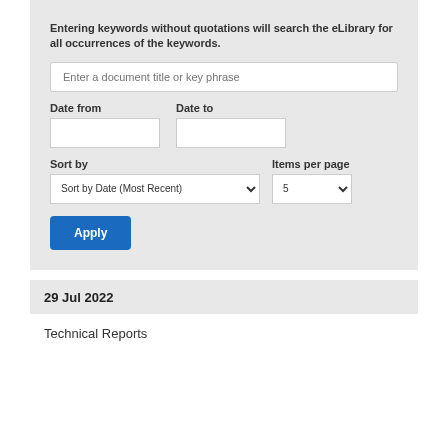Entering keywords without quotations will search the eLibrary for all occurrences of the keywords.
Enter a document title or key phrase
Date from
Date to
Sort by
Items per page
Sort by Date (Most Recent)
5
Apply
29 Jul 2022
Technical Reports